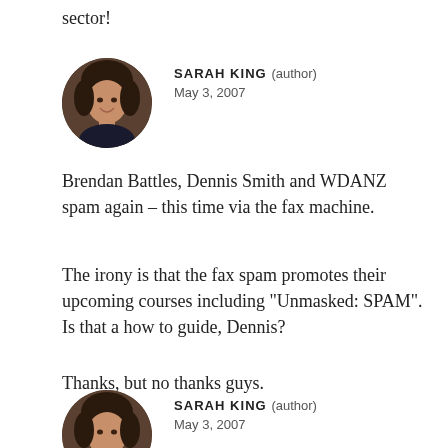sector!
[Figure (photo): Circular avatar photo of Sarah King, a woman with dark hair, smiling]
SARAH KING (author)
May 3, 2007
Brendan Battles, Dennis Smith and WDANZ spam again – this time via the fax machine.
The irony is that the fax spam promotes their upcoming courses including "Unmasked: SPAM". Is that a how to guide, Dennis?
Thanks, but no thanks guys.
[Figure (photo): Circular avatar photo of Sarah King, a woman with dark hair, partially visible at bottom]
SARAH KING (author)
May 3, 2007